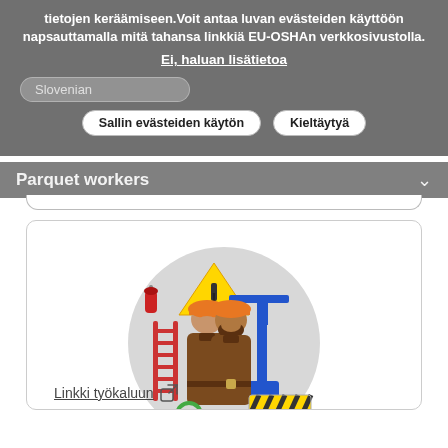tietojen keräämiseen. Voit antaa luvan evästeiden käyttöön napsauttamalla mitä tahansa linkkiä EU-OSHAn verkkosivustolla.
Ei, haluan lisätietoa
Slovenian
Sallin evästeiden käytön
Kieltäytyä
Parquet workers
[Figure (illustration): Two construction workers wearing orange hard hats and brown overalls standing in front of a grey circle. Surrounding them are construction-related icons: a red ladder on the left, a fire extinguisher, a warning/hazard triangle sign at top, a blue construction crane on the right, a yellow and black striped barrier at bottom right, and a green coiled cable at bottom left.]
Linkki työkaluun